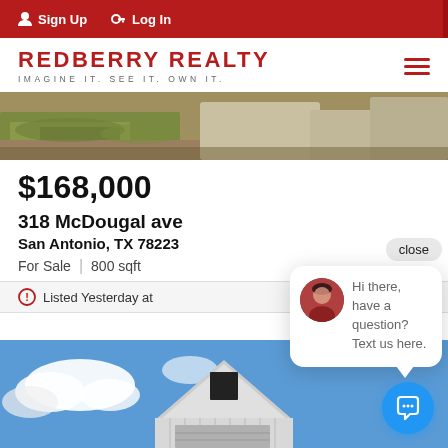Sign Up  Log In
[Figure (logo): Redberry Realty logo with tagline IMAGINE IT. SEE IT. OWN IT.]
[Figure (photo): Outdoor ground-level photo showing grass and a concrete path/driveway]
$168,000
318 McDougal ave
San Antonio, TX 78223
For Sale  |  800 sqft
Listed Yesterday at
close
Hi there, have a question? Text us here.
[Figure (photo): Photo of a house exterior with white vertical siding and blue sky with clouds]